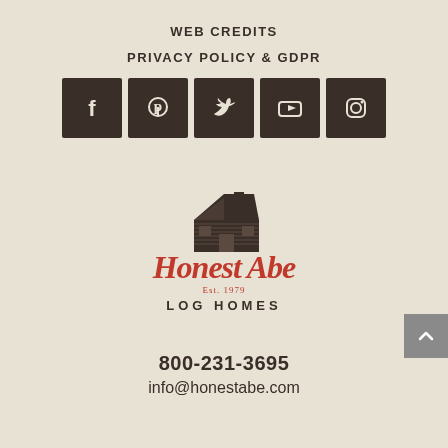WEB CREDITS
PRIVACY POLICY & GDPR
[Figure (infographic): Five social media icon buttons in dark brown square backgrounds: Facebook, Pinterest, Twitter, YouTube, Instagram]
[Figure (logo): Honest Abe Log Homes logo — dark brown log cabin illustration above red cursive script 'Honest Abe Est. 1979' with 'LOG HOMES' in brown uppercase letters below]
800-231-3695
info@honestabe.com